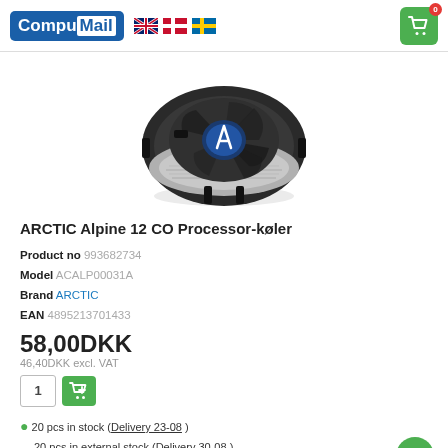CompuMail - header with language flags and cart
[Figure (photo): ARCTIC Alpine 12 CO CPU cooler with black fan blades and aluminum heatsink fins, viewed from above at an angle]
ARCTIC Alpine 12 CO Processor-køler
Product no 993682734
Model ACALP00031A
Brand ARCTIC
EAN 4895213701433
58,00DKK
46,40DKK excl. VAT
20 pcs in stock (Delivery 23-08)
20 pcs in external stock (Delivery 30-08)
Compare